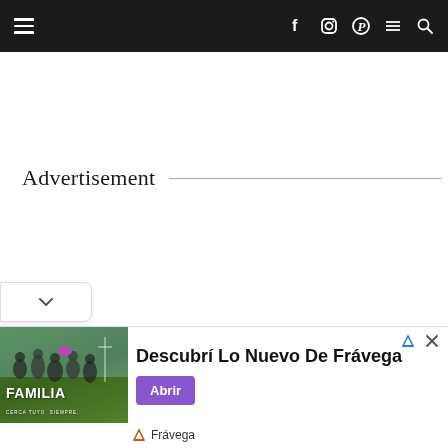Navigation bar with hamburger menu, social icons (Facebook, Instagram, Pinterest), horizontal lines icon, and search icon
Advertisement
[Figure (screenshot): Bottom collapsed panel showing a chevron/down arrow button on a white rounded tab at the left edge]
[Figure (screenshot): Advertisement banner: Familia image on left (people with rugby ball on green field), text 'Descubrí Lo Nuevo De Frávega', purple 'Abrir' button, Frávega brand logo and name at bottom left. Ad attribution icons top right.]